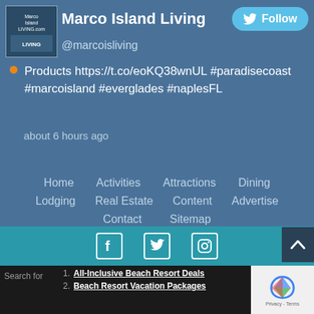[Figure (screenshot): Marco Island Living logo - blue box with text Marco Island LIVING.com]
Marco Island Living
@marcoisliving
Products https://t.co/eoKQ38wnUL #paradisecoast #marcoisland #everglades #naplesFL
about 6 hours ago
Home
Activities
Attractions
Dining
Lodging
Real Estate
Content
Advertise
Contact
Sitemap
Search for
1.  All-Inclusive Beach Resort Deals
2.  Beach Resort Vacation Packages